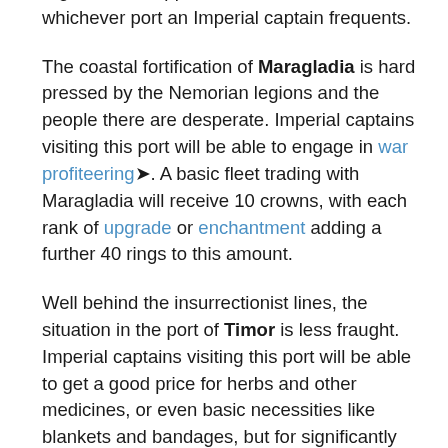regardless - support for the rebels is the same whichever port an Imperial captain frequents.
The coastal fortification of Maragladia is hard pressed by the Nemorian legions and the people there are desperate. Imperial captains visiting this port will be able to engage in war profiteering→. A basic fleet trading with Maragladia will receive 10 crowns, with each rank of upgrade or enchantment adding a further 40 rings to this amount.
Well behind the insurrectionist lines, the situation in the port of Timor is less fraught. Imperial captains visiting this port will be able to get a good price for herbs and other medicines, or even basic necessities like blankets and bandages, but for significantly less profit than they would get selling weapons in Maragladia. A basic fleet trading with Timor will receive 7 crowns, with each rank of upgrade or enchantment adding a further 28 rings to this